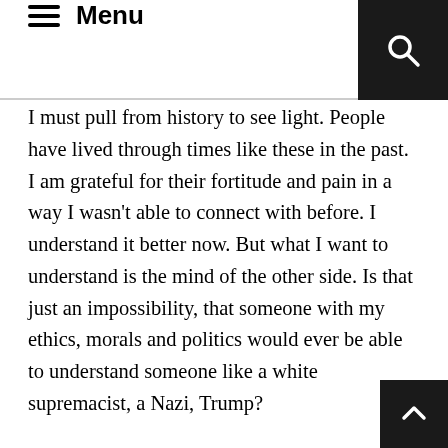Menu
I must pull from history to see light. People have lived through times like these in the past. I am grateful for their fortitude and pain in a way I wasn't able to connect with before. I understand it better now. But what I want to understand is the mind of the other side. Is that just an impossibility, that someone with my ethics, morals and politics would ever be able to understand someone like a white supremacist, a Nazi, Trump?
I told my family I wanted to go to the Free Speech rally in Boston on Saturday. They were aghast that I would put myself in such a dangerous situation. But if not me, who? And if not now, WHEN? And if none of us are willing to stand up to this moment in time, what kind of moment in time will be left?